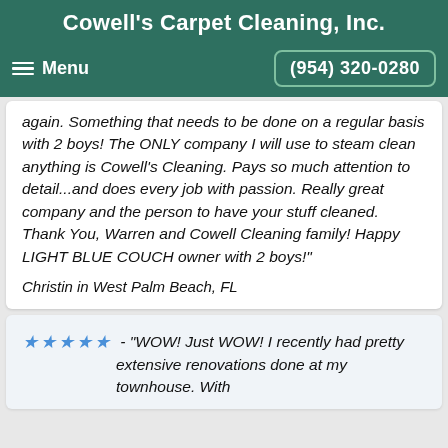Cowell's Carpet Cleaning, Inc.
Menu  (954) 320-0280
again. Something that needs to be done on a regular basis with 2 boys! The ONLY company I will use to steam clean anything is Cowell's Cleaning. Pays so much attention to detail...and does every job with passion. Really great company and the person to have your stuff cleaned. Thank You, Warren and Cowell Cleaning family! Happy LIGHT BLUE COUCH owner with 2 boys!"
Christin in West Palm Beach, FL
★★★★★ - "WOW! Just WOW! I recently had pretty extensive renovations done at my townhouse. With